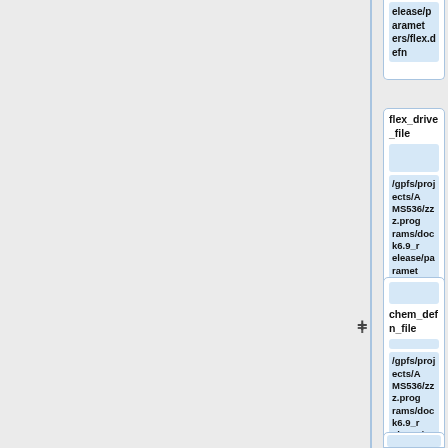[Figure (flowchart): Software/pipeline flowchart diagram showing node boxes connected by lines and plus symbols. Three visible node boxes: top truncated box showing 'elease/parameters/flex.defn', middle box labeled 'flex_drive_file' with path '/gpfs/projects/AMS536/zzz.programs/dock6.9_release/parameters/flex_drive.tbl', and lower box labeled 'chem_defn_file' with path '/gpfs/projects/AMS536/zzz.programs/dock6.9_release/parameters/chem.defn'. A fourth partially visible box at bottom. Vertical blue connector line on left side with plus (+) symbols indicating connections.]